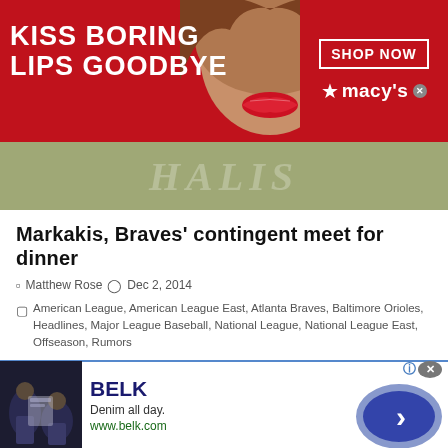[Figure (photo): Macy's advertisement banner with red background, woman's face with red lipstick, 'KISS BORING LIPS GOODBYE' text, 'SHOP NOW' button and Macy's logo]
[Figure (illustration): Olive/tan colored strip with faint italic text watermark]
Markakis, Braves' contingent meet for dinner
Matthew Rose  Dec 2, 2014
American League, American League East, Atlanta Braves, Baltimore Orioles, Headlines, Major League Baseball, National League, National League East, Offseason, Rumors
According to Dan Connolly of The Baltimore Sun, right fielder Nick Markakis had dinner last night in Monkton with an Atlanta Braves contingent that included manager Fredi Gonzalez. Connolly also adds that Brave...
[Figure (photo): Belk advertisement banner at bottom with blue border, showing apparel thumbnail, Belk brand name, 'Denim all day.' tagline, 'www.belk.com' URL, and a blue circular arrow button]